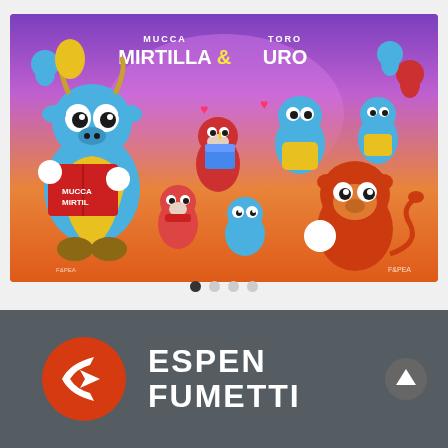[Figure (illustration): Comic book promotional image featuring cartoon characters 'Mucca Mirtilla' (a blue cow) and 'Toro Uro' (a bull), with multiple colorful cartoon animal characters on a purple-to-orange gradient background. The title 'MUCCA MIRTILLA & TORO URO' is displayed in bold white and yellow text at the top center.]
[Figure (logo): Espen Fumetti logo — a red circle with a white stylized 'E' arrow symbol, next to bold white text reading 'ESPEN' and 'FUMETTI' on a dark grey background.]